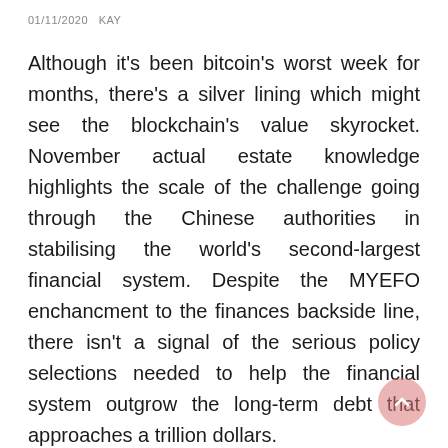01/11/2020   KAY
Although it's been bitcoin's worst week for months, there's a silver lining which might see the blockchain's value skyrocket. November actual estate knowledge highlights the scale of the challenge going through the Chinese authorities in stabilising the world's second-largest financial system. Despite the MYEFO enchancment to the finances backside line, there isn't a signal of the serious policy selections needed to help the financial system outgrow the long-term debt that approaches a trillion dollars.